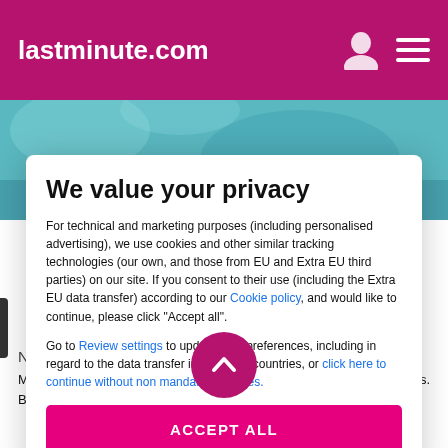lastminute.com
[Figure (screenshot): Background photo of a beach/pool area, partially visible behind the modal dialog]
We value your privacy
For technical and marketing purposes (including personalised advertising), we use cookies and other similar tracking technologies (our own, and those from EU and Extra EU third parties) on our site. If you consent to their use (including the Extra EU data transfer) according to our Cookie policy, and would like to continue, please click "Accept all".
Go to Review settings to update your preferences, including in regard to the data transfer in Extra-EU countries, or click here to continue without non mandatory cookies.
ACCEPT ALL
Near Tulum Beach
Make yourself at home in one of the 43 air-conditioned guestrooms. Bathrooms have showers and complimentary